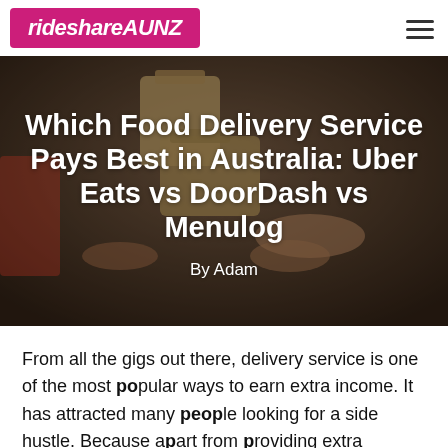rideshareAUNZ
[Figure (photo): Person handling brown cardboard takeaway food containers, with hands visible packing or stacking them on a counter surface. Dark, moody background.]
Which Food Delivery Service Pays Best in Australia: Uber Eats vs DoorDash vs Menulog
By Adam
From all the gigs out there, delivery service is one of the most popular ways to earn extra income. It has attracted many people looking for a side hustle. Because apart from providing extra income,